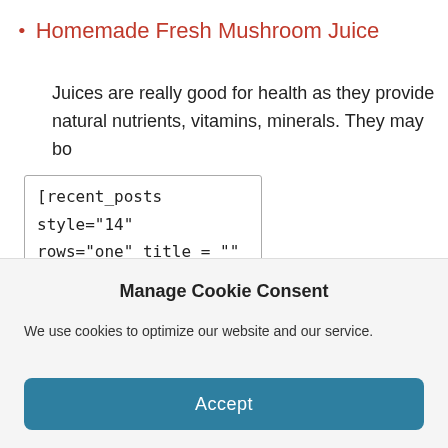Homemade Fresh Mushroom Juice
Juices are really good for health as they provide natural nutrients, vitamins, minerals. They may bo
[recent_posts style="14"
rows="one" title = ""
Edit ElementClone ElementAdvanced Element OptionsMoveRemove Element
Manage Cookie Consent
We use cookies to optimize our website and our service.
Accept